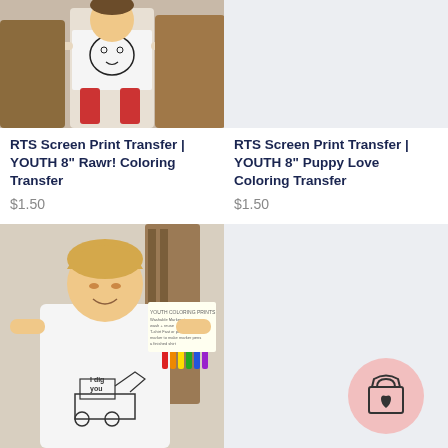[Figure (photo): Child wearing white t-shirt with cartoon animal coloring graphic and red pants]
RTS Screen Print Transfer | YOUTH 8" Rawr! Coloring Transfer
$1.50
[Figure (photo): Light gray placeholder rectangle]
RTS Screen Print Transfer | YOUTH 8" Puppy Love Coloring Transfer
$1.50
[Figure (photo): Boy smiling wearing white t-shirt with I Dig You excavator coloring graphic, markers visible in background]
[Figure (illustration): Light gray placeholder with pink circle shopping bag icon with heart]